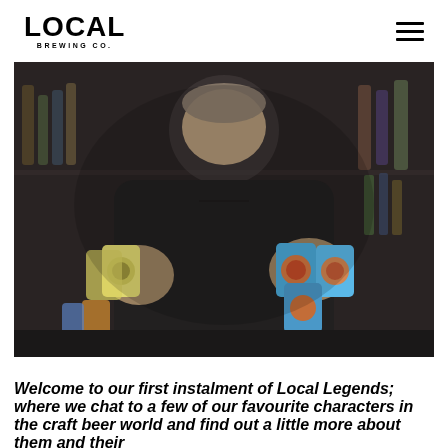LOCAL BREWING CO.
[Figure (photo): A smiling man in a black hoodie holding two packs of craft beer cans in front of shelves stocked with bottles and cans in a bottle shop.]
Welcome to our first instalment of Local Legends; where we chat to a few of our favourite characters in the craft beer world and find out a little more about them and their